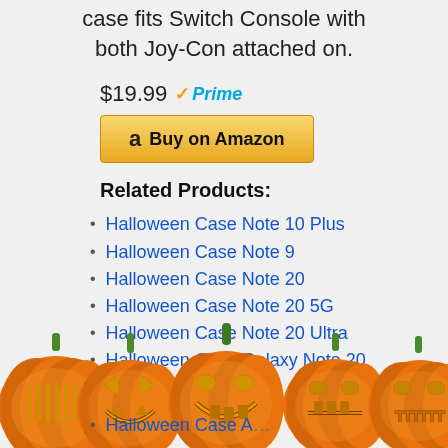case fits Switch Console with both Joy-Con attached on.
$19.99 Prime
Buy on Amazon
Related Products:
Halloween Case Note 10 Plus
Halloween Case Note 9
Halloween Case Note 20
Halloween Case Note 20 5G
Halloween Case Note 20 Ultra
Halloween Case Galaxy Note 20 Ultra
[Figure (illustration): Five Halloween jack-o-lantern pumpkins in a row at the bottom of the page, each with different carved face expressions, orange with green stems, glowing with yellow light inside]
Halloween Case A...